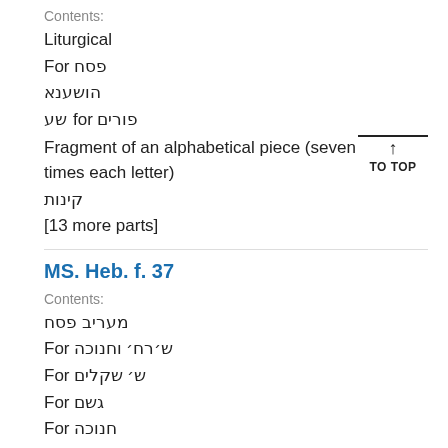Contents:
Liturgical
For פסח
הושענא
שע for פורים
Fragment of an alphabetical piece (seven times each letter)
קינות
[13 more parts]
MS. Heb. f. 37
Contents:
מעריב פסח
For ש׳רח׳ וחנוכה
For ש׳ שקלים
For גשם
For חנוכה